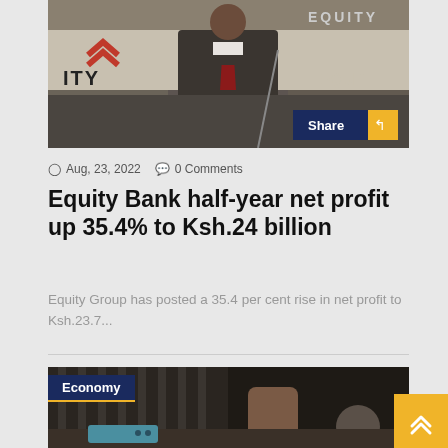[Figure (photo): A man in a dark suit with a red tie standing in front of an Equity Bank branded backdrop. A Share button with dark blue background and yellow icon button is visible at bottom right of the image.]
Aug, 23, 2022   0 Comments
Equity Bank half-year net profit up 35.4% to Ksh.24 billion
Equity Group has posted a 35.4 per cent rise in net profit to Ksh.23.7...
[Figure (photo): A person in a striped outfit holding a microphone, with a phone visible on a table. An Economy category label overlaid at top left. A yellow back-to-top arrow button at bottom right.]